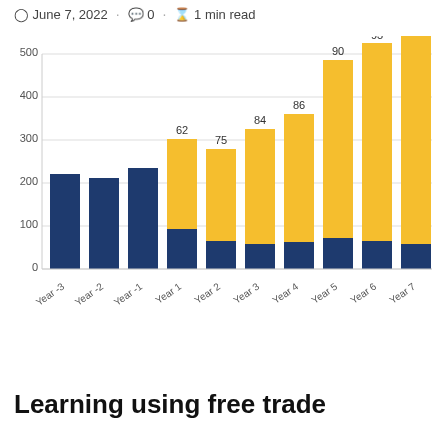June 7, 2022 · 0 · 1 min read
[Figure (stacked-bar-chart): ]
Learning using free trade